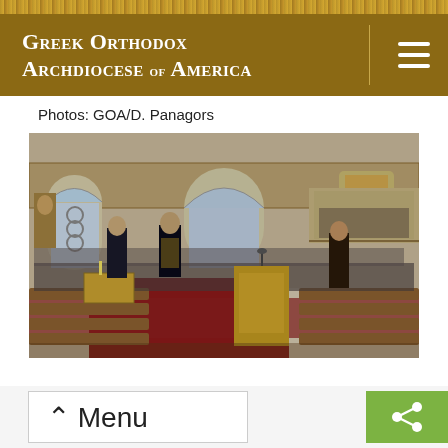Greek Orthodox Archdiocese of America
Photos: GOA/D. Panagors
[Figure (photo): Interior of a Greek Orthodox church during a service. Clergy and deacons stand at the front near the iconostasis and pulpit. A large congregation fills the pews. Byzantine-style frescoes and stained glass arched windows are visible on the walls. A balcony with more worshippers is visible in the upper right.]
^ Menu